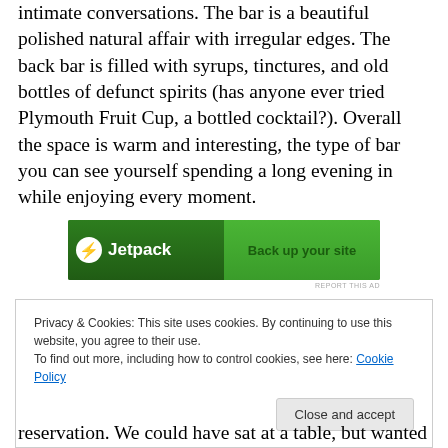intimate conversations. The bar is a beautiful polished natural affair with irregular edges. The back bar is filled with syrups, tinctures, and old bottles of defunct spirits (has anyone ever tried Plymouth Fruit Cup, a bottled cocktail?). Overall the space is warm and interesting, the type of bar you can see yourself spending a long evening in while enjoying every moment.
[Figure (other): Jetpack advertisement banner — green background with Jetpack logo on left and 'Back up your site' call to action on right]
Privacy & Cookies: This site uses cookies. By continuing to use this website, you agree to their use. To find out more, including how to control cookies, see here: Cookie Policy
reservation. We could have sat at a table, but wanted to